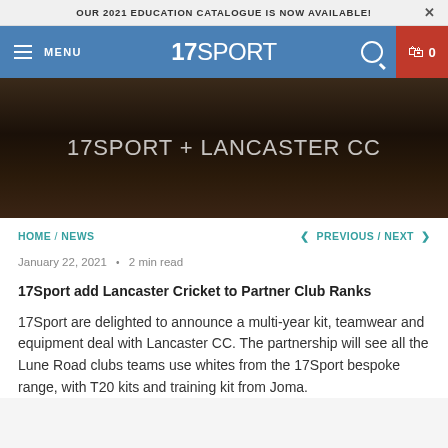OUR 2021 EDUCATION CATALOGUE IS NOW AVAILABLE!
[Figure (screenshot): 17Sport website navigation bar with hamburger menu, MENU text, 17SPORT logo in white on blue background, search icon, and shopping cart icon with 0 on red background]
[Figure (photo): Dark hero banner image with text '17SPORT + LANCASTER CC' in large light grey letters on a dark brown/black blurred background]
HOME / NEWS  < PREVIOUS / NEXT >
January 22, 2021 • 2 min read
17Sport add Lancaster Cricket to Partner Club Ranks
17Sport are delighted to announce a multi-year kit, teamwear and equipment deal with Lancaster CC. The partnership will see all the Lune Road clubs teams use whites from the 17Sport bespoke range, with T20 kits and training kit from Joma.